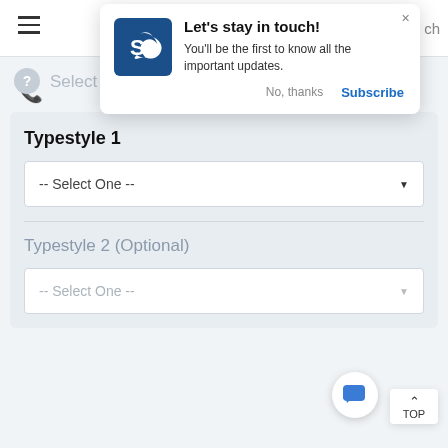[Figure (screenshot): Navigation bar with hamburger menu icon]
[Figure (screenshot): Notification popup with logo saying 'Let's stay in touch! You'll be the first to know all the important updates.' with No, thanks and Subscribe buttons]
Select Typestyle *
Typestyle 1
-- Select One --
Typestyle 2 (Optional)
-- Select One --